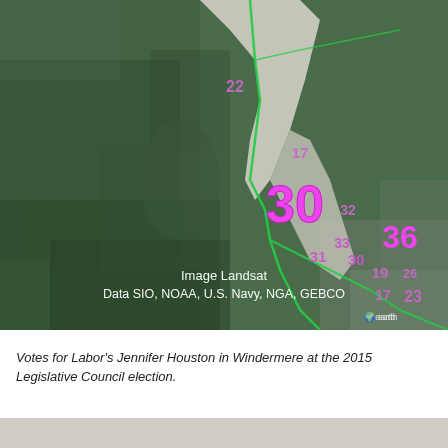[Figure (map): Satellite map (Landsat imagery) showing voting regions in Windermere area. Districts labeled with numbers in magenta/pink: 22 (upper center, white region), 17 (mid-right), 30 (large, prominent center-right), 32, 33, 31, 30, 36, 19, 26, 17, 23 clustered on the right edge. Green boundary lines delineate electoral districts overlaid on terrain imagery. Attribution: Image Landsat, Data SIO, NOAA, U.S. Navy, NGA, GEBCO.]
Votes for Labor's Jennifer Houston in Windermere at the 2015 Legislative Council election.